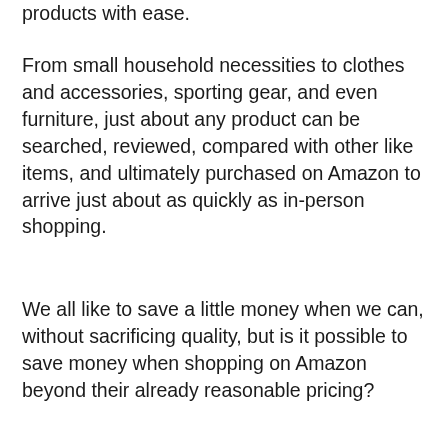products with ease.
From small household necessities to clothes and accessories, sporting gear, and even furniture, just about any product can be searched, reviewed, compared with other like items, and ultimately purchased on Amazon to arrive just about as quickly as in-person shopping.
We all like to save a little money when we can, without sacrificing quality, but is it possible to save money when shopping on Amazon beyond their already reasonable pricing?